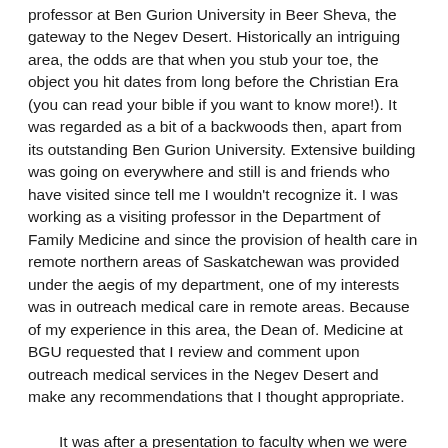professor at Ben Gurion University in Beer Sheva, the gateway to the Negev Desert. Historically an intriguing area, the odds are that when you stub your toe, the object you hit dates from long before the Christian Era (you can read your bible if you want to know more!). It was regarded as a bit of a backwoods then, apart from its outstanding Ben Gurion University. Extensive building was going on everywhere and still is and friends who have visited since tell me I wouldn't recognize it. I was working as a visiting professor in the Department of Family Medicine and since the provision of health care in remote northern areas of Saskatchewan was provided under the aegis of my department, one of my interests was in outreach medical care in remote areas. Because of my experience in this area, the Dean of. Medicine at BGU requested that I review and comment upon outreach medical services in the Negev Desert and make any recommendations that I thought appropriate.
It was after a presentation to faculty when we were discussing issues of providing medical care in remote